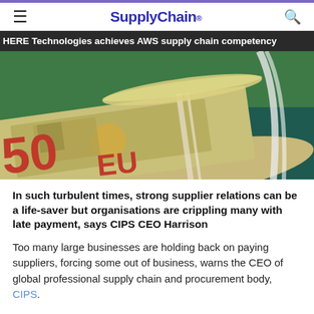SupplyChain.
HERE Technologies achieves AWS supply chain competency
[Figure (photo): Close-up photo of a rolled-up 50 Euro banknote on a green background]
In such turbulent times, strong supplier relations can be a life-saver but organisations are crippling many with late payment, says CIPS CEO Harrison
Too many large businesses are holding back on paying suppliers, forcing some out of business, warns the CEO of global professional supply chain and procurement body, CIPS.